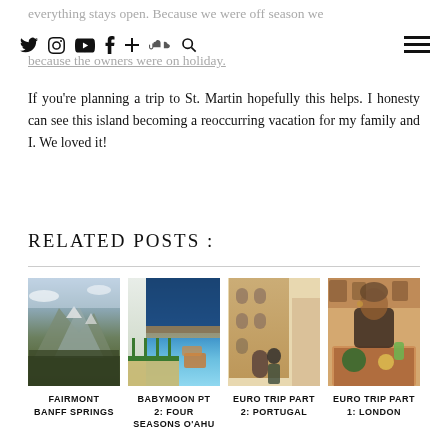everything stays open. Because we were off season we missed out on a few restaurants we wanted to try because the owners were on holiday.
If you're planning a trip to St. Martin hopefully this helps. I honesty can see this island becoming a reoccurring vacation for my family and I. We loved it!
RELATED POSTS :
[Figure (photo): Mountain and forest landscape with snow - Fairmont Banff Springs]
FAIRMONT BANFF SPRINGS
[Figure (photo): Hotel room or balcony with ocean view - Babymoon PT 2: Four Seasons O'Ahu]
BABYMOON PT 2: FOUR SEASONS O'AHU
[Figure (photo): Woman in European city street - Euro Trip Part 2: Portugal]
EURO TRIP PART 2: PORTUGAL
[Figure (photo): Woman eating at restaurant - Euro Trip Part 1: London]
EURO TRIP PART 1: LONDON